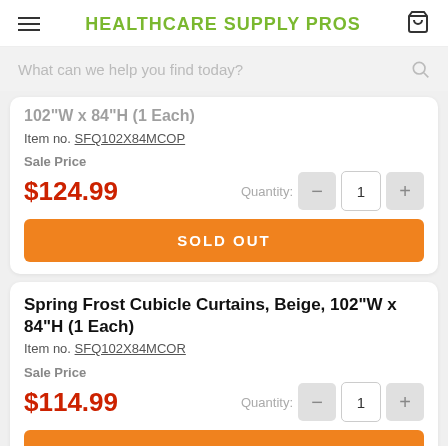HEALTHCARE SUPPLY PROS
What can we help you find today?
102"W x 84"H (1 Each)
Item no. SFQ102X84MCOP
Sale Price
$124.99
Quantity: 1
SOLD OUT
Spring Frost Cubicle Curtains, Beige, 102"W x 84"H (1 Each)
Item no. SFQ102X84MCOR
Sale Price
$114.99
Quantity: 1